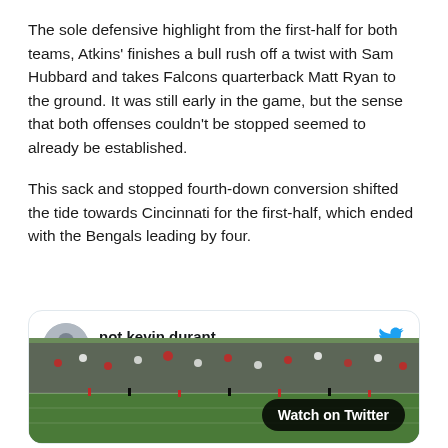The sole defensive highlight from the first-half for both teams, Atkins' finishes a bull rush off a twist with Sam Hubbard and takes Falcons quarterback Matt Ryan to the ground. It was still early in the game, but the sense that both offenses couldn't be stopped seemed to already be established.
This sack and stopped fourth-down conversion shifted the tide towards Cincinnati for the first-half, which ended with the Bengals leading by four.
[Figure (screenshot): Embedded tweet from @nevkinturand (not kevin durant) with a Twitter bird logo, a Follow link, and a football field image with a 'Watch on Twitter' button overlay.]